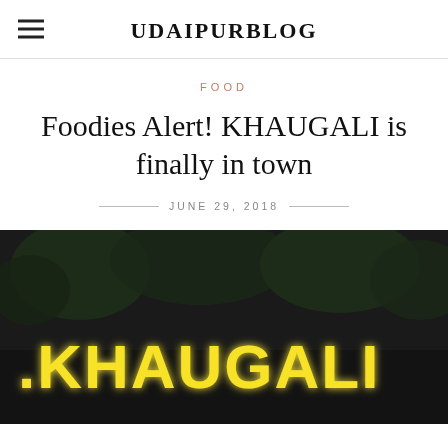UDAIPURBLOG
FOOD
Foodies Alert! KHAUGALI is finally in town
JUNE 29, 2018
[Figure (photo): Night photo of an illuminated sign reading 'KHAUGALI' in large glowing yellow letters against a dark background with trees visible]